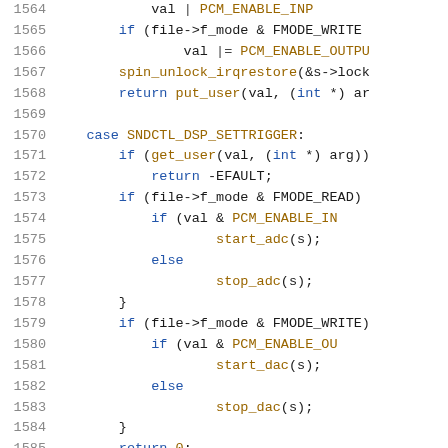[Figure (screenshot): Source code listing showing C code lines 1564-1585, with line numbers on the left, syntax highlighted in blue (keywords), olive/gold (functions/constants), and dark text (plain code). Partial lines visible on right edge due to cropping.]